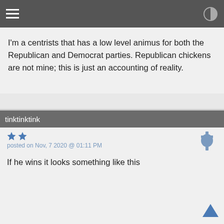I'm a centrists that has a low level animus for both the Republican and Democrat parties. Republican chickens are not mine; this is just an accounting of reality.
tinktinktink
posted on Nov, 7 2020 @ 01:11 PM
If he wins it looks something like this
[Figure (screenshot): YouTube video thumbnail showing 'Joe Biden on his Hairy Blon...' with a circular avatar of an elderly man and a video still of Biden outdoors.]